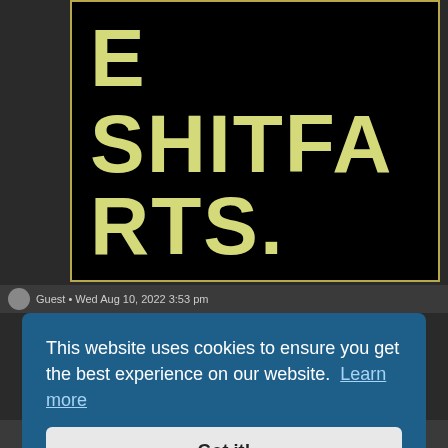[Figure (illustration): Black background image with large yellow-green bold text reading 'E SHITFARTS.' displayed in large uppercase letters, with a gold/yellow border around the image.]
Guest • Wed Aug 10, 2022 3:53 pm
This website uses cookies to ensure you get the best experience on our website. Learn more
Got it!